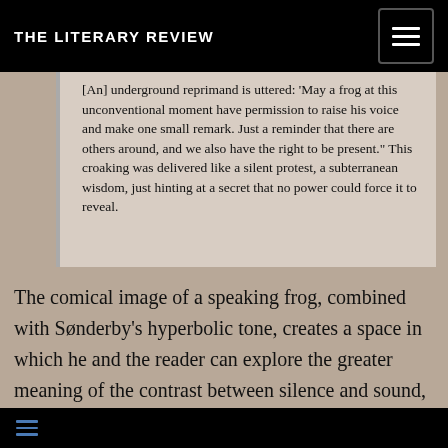THE LITERARY REVIEW
[An] underground reprimand is uttered: ‘May a frog at this unconventional moment have permission to raise his voice and make one small remark. Just a reminder that there are others around, and we also have the right to be present.” This croaking was delivered like a silent protest, a subterranean wisdom, just hinting at a secret that no power could force it to reveal.
The comical image of a speaking frog, combined with Sønderby’s hyperbolic tone, creates a space in which he and the reader can explore the greater meaning of the contrast between silence and sound, in a philosophical and abstract manner, while also